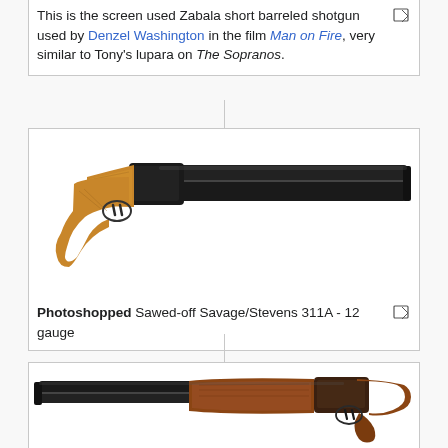This is the screen used Zabala short barreled shotgun used by Denzel Washington in the film Man on Fire, very similar to Tony's lupara on The Sopranos.
[Figure (photo): Photoshopped Sawed-off Savage/Stevens 311A - 12 gauge shotgun on white background]
Photoshopped Sawed-off Savage/Stevens 311A - 12 gauge
[Figure (photo): Actual screen used Spanish Zabala Shotgun, sawed-off double barrel on white background]
This is the actual screen used Spanish Zabala Shotgun held and used by The Skull (Geno Silva) in Scarface - 12 gauge
[Figure (photo): Partial view of another shotgun on white background]